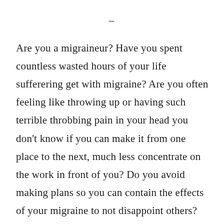–
Are you a migraineur?  Have you spent countless wasted hours of your life sufferering get with migraine?  Are you often feeling like throwing up or having such terrible throbbing pain in your head you don't know if you can make it from one place to the next, much less concentrate on the work in front of you?  Do you avoid making plans so you can contain the effects of your migraine to not disappoint others?